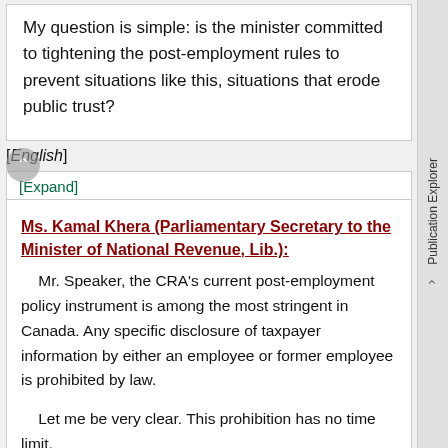My question is simple: is the minister committed to tightening the post-employment rules to prevent situations like this, situations that erode public trust?
[English]
[Expand]
Ms. Kamal Khera (Parliamentary Secretary to the Minister of National Revenue, Lib.):
Mr. Speaker, the CRA's current post-employment policy instrument is among the most stringent in Canada. Any specific disclosure of taxpayer information by either an employee or former employee is prohibited by law.
Let me be very clear. This prohibition has no time limit.
Publication Explorer